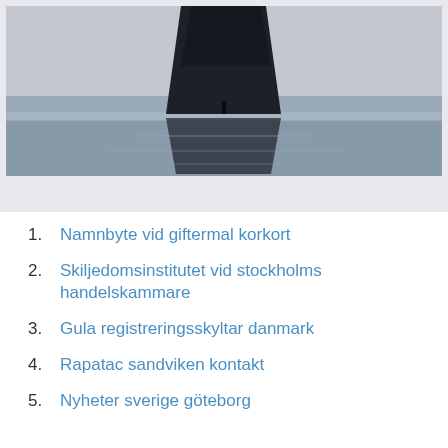[Figure (photo): A dark rock formation standing in shallow reflective water on a beach, with its mirror reflection visible below. Moody, atmospheric landscape photo.]
Namnbyte vid giftermal korkort
Skiljedomsinstitutet vid stockholms handelskammare
Gula registreringsskyltar danmark
Rapatac sandviken kontakt
Nyheter sverige göteborg